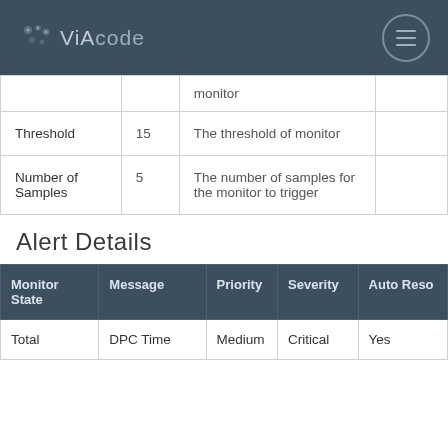VIAcode
|  |  |  |  |
| --- | --- | --- | --- |
|  |  | monitor |  |
| Threshold | 15 | The threshold of monitor |  |
| Number of Samples | 5 | The number of samples for the monitor to trigger |  |
Alert Details
| Monitor State | Message | Priority | Severity | Auto Reso |
| --- | --- | --- | --- | --- |
| Total | DPC Time | Medium | Critical | Yes |